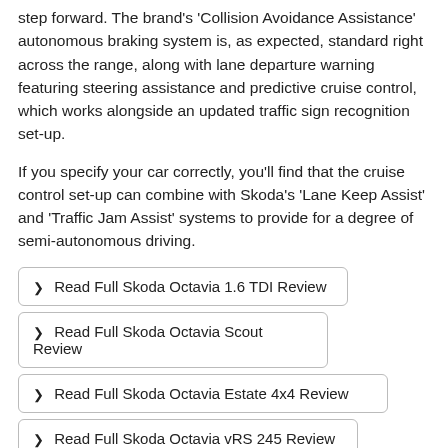step forward. The brand's 'Collision Avoidance Assistance' autonomous braking system is, as expected, standard right across the range, along with lane departure warning featuring steering assistance and predictive cruise control, which works alongside an updated traffic sign recognition set-up.
If you specify your car correctly, you'll find that the cruise control set-up can combine with Skoda's 'Lane Keep Assist' and 'Traffic Jam Assist' systems to provide for a degree of semi-autonomous driving.
❯ Read Full Skoda Octavia 1.6 TDI Review
❯ Read Full Skoda Octavia Scout Review
❯ Read Full Skoda Octavia Estate 4x4 Review
❯ Read Full Skoda Octavia vRS 245 Review
❯ Read Full Skoda Octavia vRS Review
❯ Read Full Skoda Octavia vRS Review